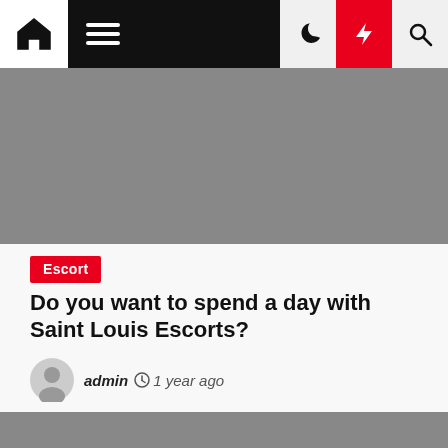Navigation bar with home, menu, dark mode, lightning, and search icons
[Figure (photo): Gray placeholder image area at top of article]
Escort
Do you want to spend a day with Saint Louis Escorts?
admin  1 year ago
[Figure (photo): Gray placeholder image area at bottom, partially visible]